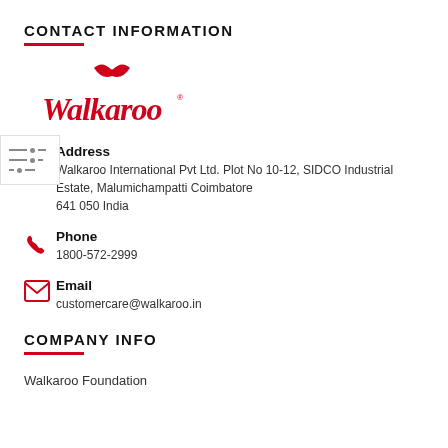CONTACT INFORMATION
[Figure (logo): Walkaroo brand logo in red script font with butterfly/wing motif above the text]
Address
Walkaroo International Pvt Ltd. Plot No 10-12, SIDCO Industrial Estate, Malumichampatti Coimbatore
641 050 India
Phone
1800-572-2999
Email
customercare@walkaroo.in
COMPANY INFO
Walkaroo Foundation